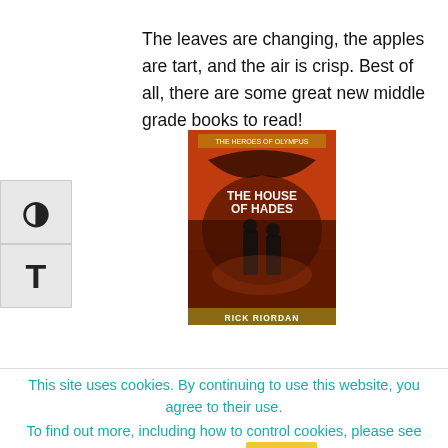The leaves are changing, the apples are tart, and the air is crisp. Best of all, there are some great new middle grade books to read!
[Figure (photo): Book cover of 'The House of Hades' by Rick Riordan, showing dark fantasy artwork with characters and the book title.]
The House of Hades, by Rick Riordan
This site uses cookies. By continuing to use this website, you agree to their use. To find out more, including how to control cookies, please see here: Read More  Close